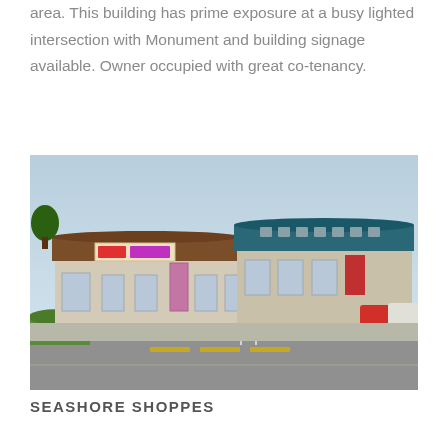area. This building has prime exposure at a busy lighted intersection with Monument and building signage available. Owner occupied with great co-tenancy.
[Figure (photo): Exterior photograph of a retail strip center showing two connected buildings with teal/blue roof on the right section and brown roof on the left, white facades, storefronts with signage, parking lot, trees, and road intersection in the foreground.]
SEASHORE SHOPPES